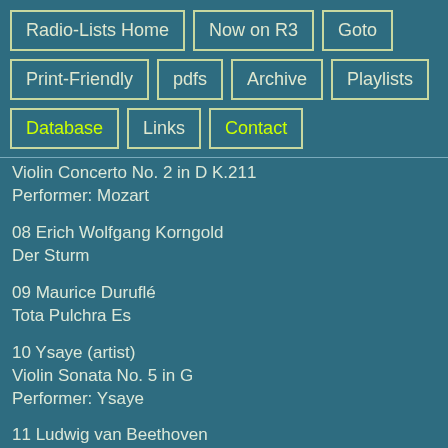Radio-Lists Home
Now on R3
Goto
Print-Friendly
pdfs
Archive
Playlists
Database
Links
Contact
Violin Concerto No. 2 in D K.211
Performer: Mozart
08 Erich Wolfgang Korngold
Der Sturm
09 Maurice Duruflé
Tota Pulchra Es
10 Ysaye (artist)
Violin Sonata No. 5 in G
Performer: Ysaye
11 Ludwig van Beethoven
Piano Sonata No. 23 in F minor Op. 57 'Appassionata'